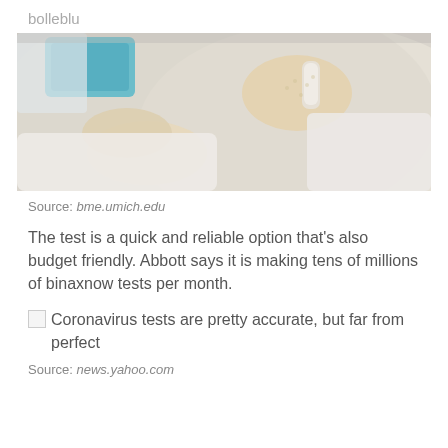bolleblu
[Figure (photo): Close-up photo of gloved hands holding a small lab test tube or vial near a blue lab tray, scientific/medical laboratory setting.]
Source: bme.umich.edu
The test is a quick and reliable option that's also budget friendly. Abbott says it is making tens of millions of binaxnow tests per month.
Coronavirus tests are pretty accurate, but far from perfect
Source: news.yahoo.com